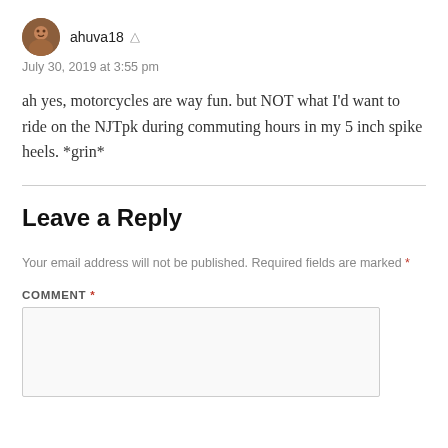ahuva18
July 30, 2019 at 3:55 pm
ah yes, motorcycles are way fun. but NOT what I'd want to ride on the NJTpk during commuting hours in my 5 inch spike heels. *grin*
Leave a Reply
Your email address will not be published. Required fields are marked *
COMMENT *